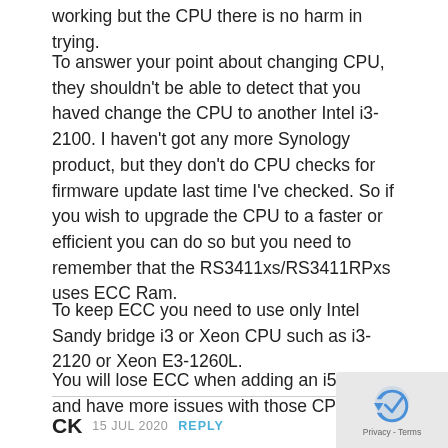working but the CPU there is no harm in trying.
To answer your point about changing CPU, they shouldn't be able to detect that you haved change the CPU to another Intel i3-2100. I haven't got any more Synology product, but they don't do CPU checks for firmware update last time I've checked. So if you wish to upgrade the CPU to a faster or efficient you can do so but you need to remember that the RS3411xs/RS3411RPxs uses ECC Ram.
To keep ECC you need to use only Intel Sandy bridge i3 or Xeon CPU such as i3-2120 or Xeon E3-1260L.
You will lose ECC when adding an i5 and i7 and have more issues with those CPU.
CK 15 JUL 2020 REPLY
Hi,
to start on the security front shall we say there has been a failure. The